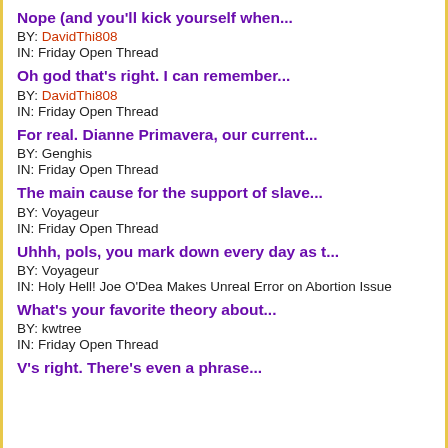Nope (and you'll kick yourself when...
BY: DavidThi808
IN: Friday Open Thread
Oh god that's right. I can remember...
BY: DavidThi808
IN: Friday Open Thread
For real. Dianne Primavera, our current...
BY: Genghis
IN: Friday Open Thread
The main cause for the support of slave...
BY: Voyageur
IN: Friday Open Thread
Uhhh, pols, you mark down every day as t...
BY: Voyageur
IN: Holy Hell! Joe O'Dea Makes Unreal Error on Abortion Issue
What's your favorite theory about...
BY: kwtree
IN: Friday Open Thread
V's right. There's even a phrase...